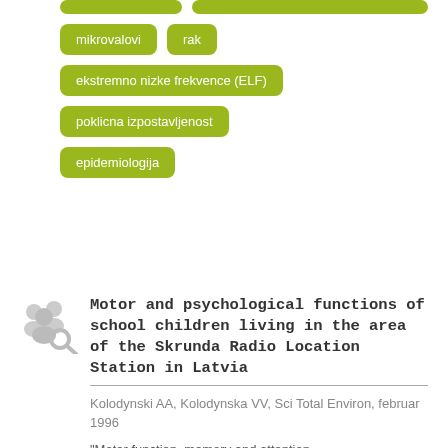mikrovalovi
rak
ekstremno nizke frekvence (ELF)
poklicna izpostavljenost
epidemiologija
Motor and psychological functions of school children living in the area of the Skrunda Radio Location Station in Latvia
Kolodynski AA, Kolodynska VV, Sci Total Environ, februar 1996
"Motor function, memory and attention